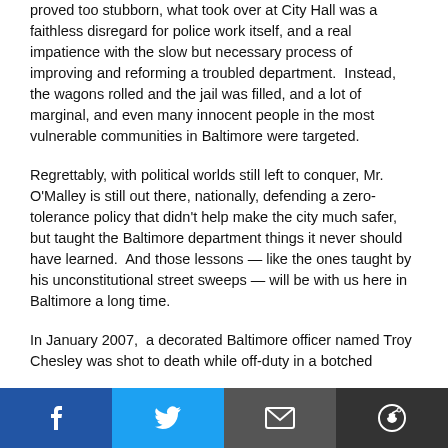proved too stubborn, what took over at City Hall was a faithless disregard for police work itself, and a real impatience with the slow but necessary process of improving and reforming a troubled department.  Instead, the wagons rolled and the jail was filled, and a lot of marginal, and even many innocent people in the most vulnerable communities in Baltimore were targeted.
Regrettably, with political worlds still left to conquer, Mr. O'Malley is still out there, nationally, defending a zero-tolerance policy that didn't help make the city much safer, but taught the Baltimore department things it never should have learned.  And those lessons — like the ones taught by his unconstitutional street sweeps — will be with us here in Baltimore a long time.
In January 2007,  a decorated Baltimore officer named Troy Chesley was shot to death while off-duty in a botched
[Figure (other): Social sharing bar with Facebook, Twitter, email, and Reddit buttons]